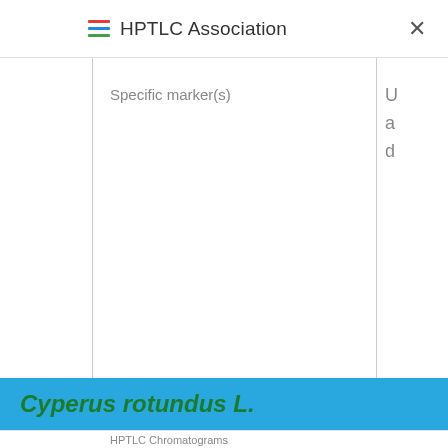HPTLC Association
| Specific marker(s) | U a d |
| --- | --- |
Cyperus rotundus L.
HPTLC Chromatograms